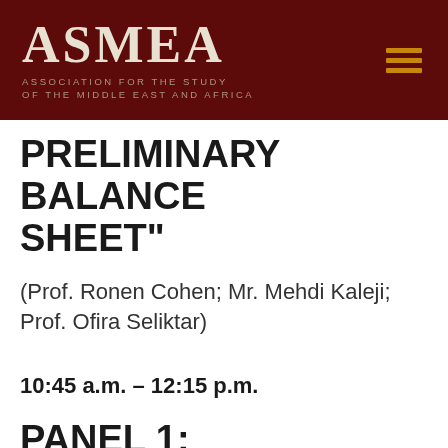ASMEA — ASSOCIATION FOR THE STUDY OF THE MIDDLE EAST AND AFRICA
PRELIMINARY BALANCE SHEET”
(Prof. Ronen Cohen; Mr. Mehdi Kaleji; Prof. Ofira Seliktar)
10:45 a.m. – 12:15 p.m.
PANEL 1: “CONSTRUCTING